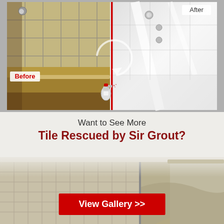[Figure (photo): Before and after comparison photo of a bathtub: left side shows dirty, stained tub with yellowed grout and tiles (labeled 'Before'), right side shows clean white restored tub and tiles (labeled 'After'), separated by a red vertical line with a circular arrow and spray bottle graphic in the center.]
Want to See More
Tile Rescued by Sir Grout?
[Figure (photo): Background image of clean restored tile and mosaic in a bathroom or pool area.]
View Gallery >>